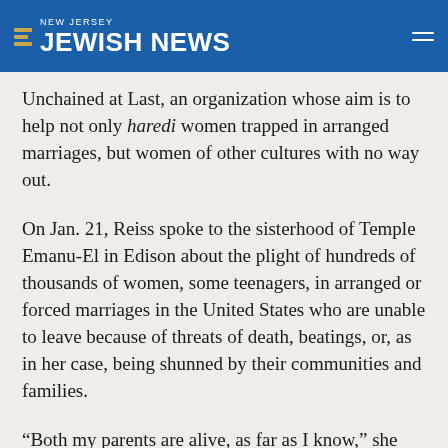NEW JERSEY JEWISH NEWS
Unchained at Last, an organization whose aim is to help not only haredi women trapped in arranged marriages, but women of other cultures with no way out.
On Jan. 21, Reiss spoke to the sisterhood of Temple Emanu-El in Edison about the plight of hundreds of thousands of women, some teenagers, in arranged or forced marriages in the United States who are unable to leave because of threats of death, beatings, or, as in her case, being shunned by their communities and families.
“Both my parents are alive, as far as I know,” she said. “Hundreds of aunts, uncles, cousins, siblings,